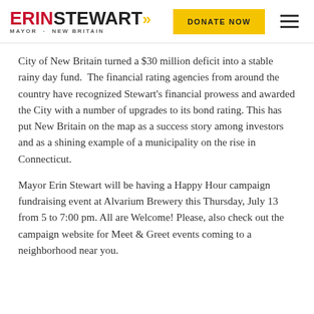ERIN STEWART >> MAYOR · NEW BRITAIN | DONATE NOW
City of New Britain turned a $30 million deficit into a stable rainy day fund.  The financial rating agencies from around the country have recognized Stewart’s financial prowess and awarded the City with a number of upgrades to its bond rating. This has put New Britain on the map as a success story among investors and as a shining example of a municipality on the rise in Connecticut.
Mayor Erin Stewart will be having a Happy Hour campaign fundraising event at Alvarium Brewery this Thursday, July 13 from 5 to 7:00 pm. All are Welcome! Please, also check out the campaign website for Meet & Greet events coming to a neighborhood near you.